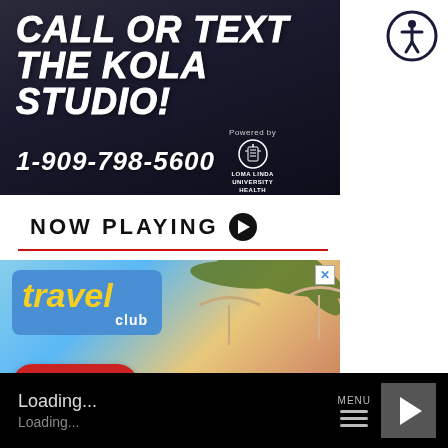[Figure (illustration): Dark gradient banner ad: 'CALL OR TEXT THE KOLA STUDIO!' in bold white italic text, phone number 1-909-798-5600, Powered by Loma Linda University Health logo]
[Figure (logo): Accessibility icon button - circular with person symbol, dark navy border]
NOW PLAYING ▶
[Figure (illustration): Travel Club advertisement with palm tree imagery, travel club logo with yellow text on blue background, Kola 99.9 radio station logo on red oval, X close button in top right corner]
Loading...
Loading...
MENU